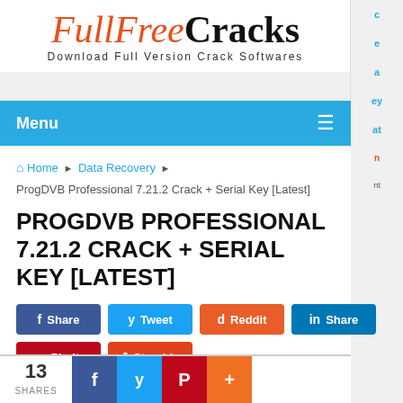[Figure (logo): FullFreeCracks website logo with cursive orange 'FullFree' and bold black 'Cracks', tagline 'Download Full Version Crack Softwares']
Menu
Home › Data Recovery › ProgDVB Professional 7.21.2 Crack + Serial Key [Latest]
PROGDVB PROFESSIONAL 7.21.2 CRACK + SERIAL KEY [LATEST]
Share  Tweet  Reddit  Share  Pin it  Stumble
13 SHARES